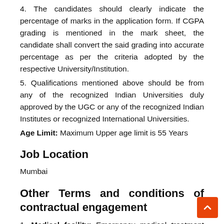4. The candidates should clearly indicate the percentage of marks in the application form. If CGPA grading is mentioned in the mark sheet, the candidate shall convert the said grading into accurate percentage as per the criteria adopted by the respective University/Institution.
5. Qualifications mentioned above should be from any of the recognized Indian Universities duly approved by the UGC or any of the recognized Indian Institutes or recognized International Universities.
Age Limit: Maximum Upper age limit is 55 Years
Job Location
Mumbai
Other Terms and conditions of contractual engagement
1. Medical facility: Emergency medical treatment will be